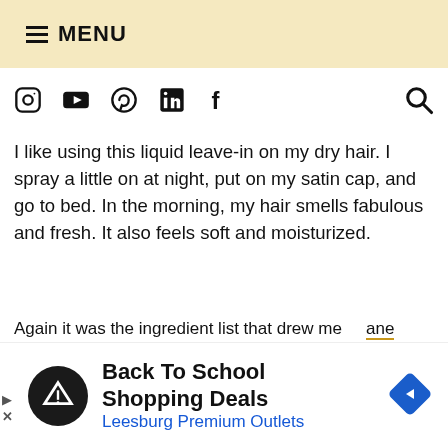≡ MENU
[Figure (other): Social media icons row: Instagram, YouTube, Pinterest, LinkedIn, Facebook, and a search icon]
I like using this liquid leave-in on my dry hair. I spray a little on at night, put on my satin cap, and go to bed. In the morning, my hair smells fabulous and fresh. It also feels soft and moisturized.
Again it was the ingredient list that drew me to the lane
ner. In
se it
use of
hair.
We use cookies to deliver its services, personalize ads, and analyze traffic to give you the best experience on our website. By using this site, you agree to its use of cookies.
∨  n more   e-in
[Figure (other): Advertisement: Back To School Shopping Deals - Leesburg Premium Outlets, with circular logo and navigation arrow icon]